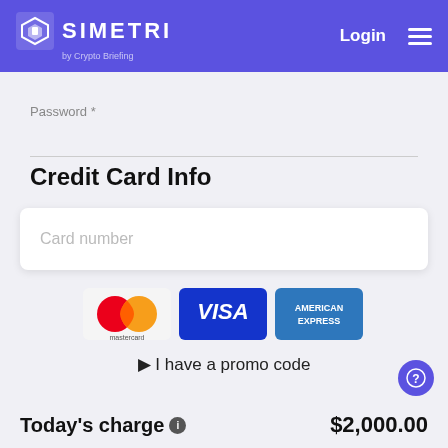[Figure (logo): SIMETRI by Crypto Briefing logo in white on purple header background, with Login text and hamburger menu icon]
Password *
Credit Card Info
Card number
[Figure (illustration): Payment method logos: Mastercard, Visa, American Express]
▶ I have a promo code
Today's charge ℹ
$2,000.00